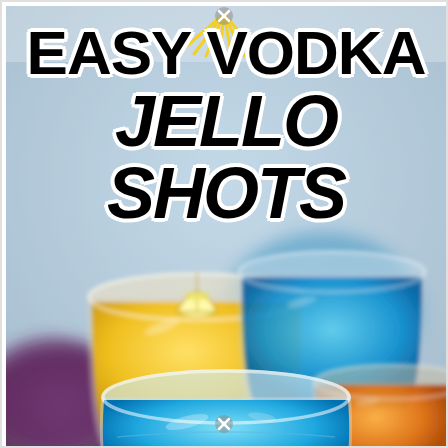[Figure (photo): Overhead close-up photo of colorful jello shots in clear plastic cups. Cups contain yellow, blue, orange, and other colored gelatin. A lemon/lime wedge sits in the center yellow cup. Background shows more colorful jello shots.]
EASY VODKA JELLO SHOTS